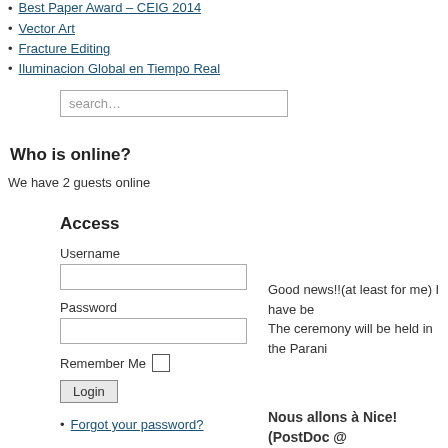Best Paper Award - CEIG 2014
Vector Art
Fracture Editing
Iluminacion Global en Tiempo Real
Who is online?
We have 2 guests online
Access
Username
Password
Remember Me
Forgot your password?
Good news!!(at least for me) I have be... The ceremony will be held in the Parani...
Nous allons à Nice! (PostDoc @ REVES)
Thursday, 01 December 2011 11:13